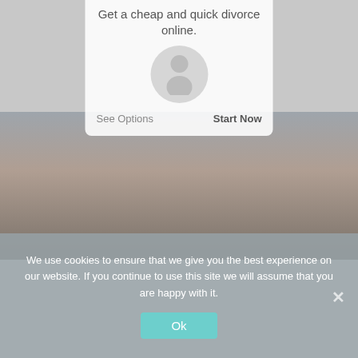[Figure (screenshot): Mobile app or website screenshot showing a divorce service advertisement with a white card overlay containing the text 'Get a cheap and quick divorce online.' with 'See Options' and 'Start Now' buttons, over a background landscape photo with a silhouetted person in a field at sunset.]
We use cookies to ensure that we give you the best experience on our website. If you continue to use this site we will assume that you are happy with it.